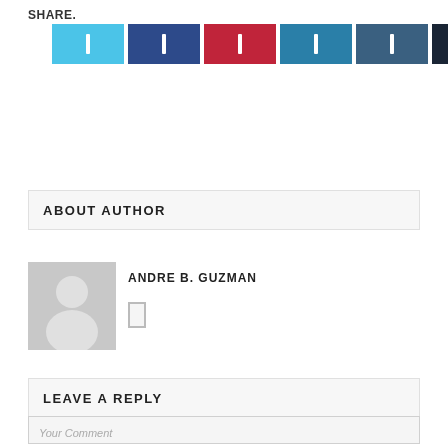SHARE.
[Figure (other): Six social share buttons: Twitter (light blue), Facebook (dark blue), Pinterest (red), LinkedIn (teal), WhatsApp (dark teal), counter (very dark navy)]
ABOUT AUTHOR
[Figure (other): Author avatar placeholder - grey circle silhouette on grey background]
ANDRE B. GUZMAN
LEAVE A REPLY
Your Comment